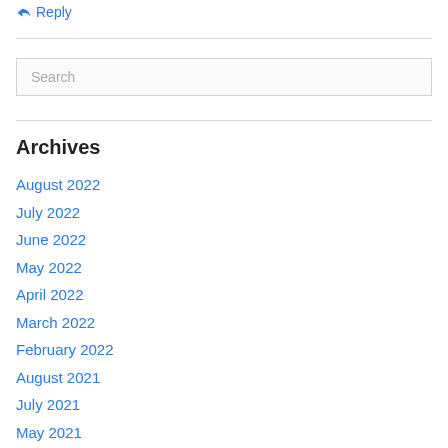Reply
Search
Archives
August 2022
July 2022
June 2022
May 2022
April 2022
March 2022
February 2022
August 2021
July 2021
May 2021